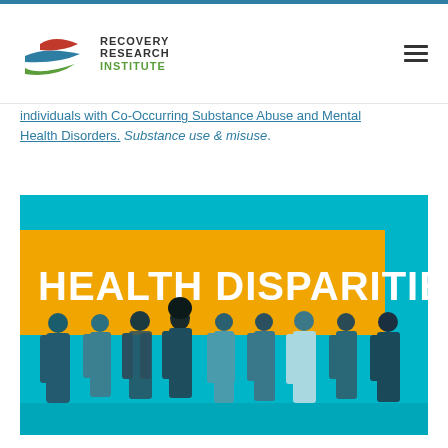[Figure (logo): Recovery Research Institute logo with stylized swoosh marks in green, blue, and red, beside text reading RECOVERY RESEARCH INSTITUTE]
individuals with Co-Occurring Substance Abuse and Mental Health Disorders. Substance use & misuse.
[Figure (photo): Health Disparities banner image: teal/cyan toned background with 9 people standing with their backs to the camera in a line, with a large golden-yellow banner overlay reading HEALTH DISPARITIES in bold white text]